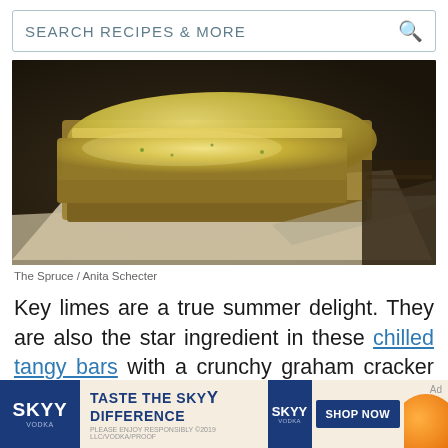SEARCH RECIPES & MORE
[Figure (photo): Close-up photo of key lime bars with a golden graham cracker crust and creamy lime custard filling, stacked on parchment paper on a dark wooden surface]
The Spruce / Anita Schecter
Key limes are a true summer delight. They are also the star ingredient in these chilled tangy bars with a crunchy graham cracker crust and a fluffy, lime-infused custard filling. They're even more summer-friendly than key lime pie.
[Figure (photo): SKYY Vodka advertisement banner with blue branding, 'TASTE THE SKYY DIFFERENCE' text, bottle image, 'SHOP NOW' button, and orange citrus imagery]